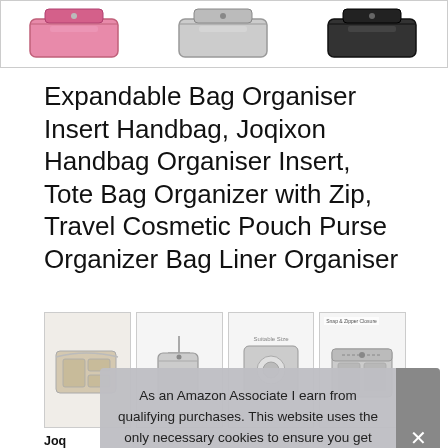[Figure (photo): Top strip showing three cosmetic bag/organiser products side by side: pink, silver/grey, and black versions]
Expandable Bag Organiser Insert Handbag, Joqixon Handbag Organiser Insert, Tote Bag Organizer with Zip, Travel Cosmetic Pouch Purse Organizer Bag Liner Organiser
[Figure (photo): Four thumbnail product images showing: open bag interior, bag on hanger, bag with items inside, bag with zipper detail]
Joq
Nylon Bag Organiser is waterproof, will not collapse, easy to
As an Amazon Associate I earn from qualifying purchases. This website uses the only necessary cookies to ensure you get the best experience on our website. More information